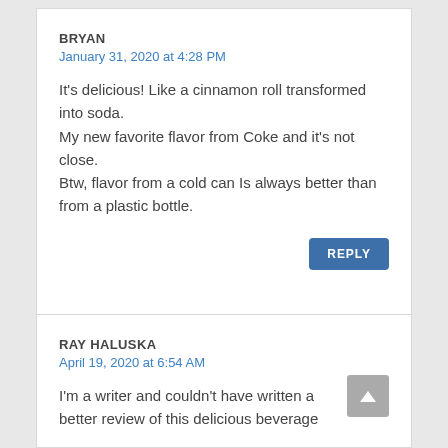BRYAN
January 31, 2020 at 4:28 PM
It's delicious! Like a cinnamon roll transformed into soda.
My new favorite flavor from Coke and it's not close.
Btw, flavor from a cold can Is always better than from a plastic bottle.
REPLY
RAY HALUSKA
April 19, 2020 at 6:54 AM
I'm a writer and couldn't have written a better review of this delicious beverage